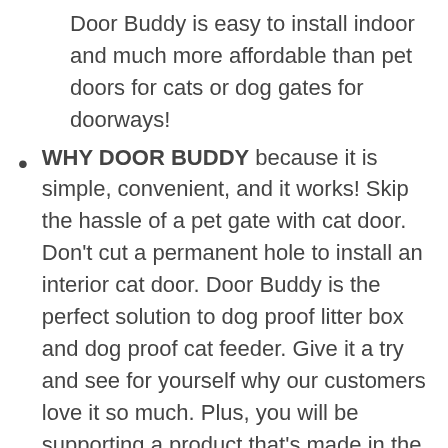Door Buddy is easy to install indoor and much more affordable than pet doors for cats or dog gates for doorways!
WHY DOOR BUDDY because it is simple, convenient, and it works! Skip the hassle of a pet gate with cat door. Don't cut a permanent hole to install an interior cat door. Door Buddy is the perfect solution to dog proof litter box and dog proof cat feeder. Give it a try and see for yourself why our customers love it so much. Plus, you will be supporting a product that's made in the USA by a small family run company that cares about you, the customer!
WHAT MAKES IT SO AWESOME Installs in seconds: just peel & stick to the door and door frame using the strong 3M adhesive.
Adjustable: adjust the width of the door...